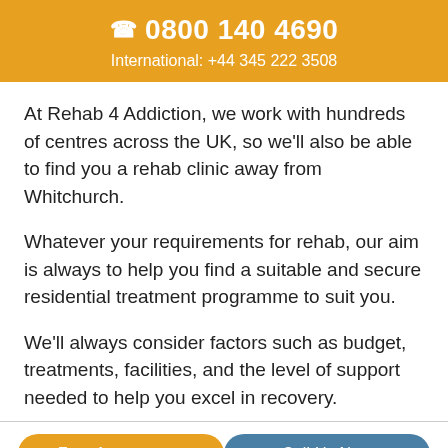📞 0800 140 4690
International: +44 345 222 3508
At Rehab 4 Addiction, we work with hundreds of centres across the UK, so we'll also be able to find you a rehab clinic away from Whitchurch.
Whatever your requirements for rehab, our aim is always to help you find a suitable and secure residential treatment programme to suit you.
We'll always consider factors such as budget, treatments, facilities, and the level of support needed to help you excel in recovery.
Free Assessment
Call Us Now